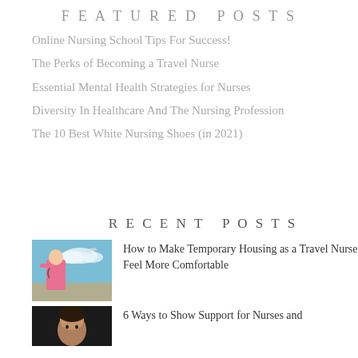FEATURED POSTS
Online Nursing School Tips For Success!
The Perks of Becoming a Travel Nurse
Essential Mental Health Strategies for Nurses
Diversity In Healthcare And The Nursing Profession
The 10 Best White Nursing Shoes (in 2021)
RECENT POSTS
[Figure (photo): Nurse in pink scrubs outdoors with sky and airplane in background]
How to Make Temporary Housing as a Travel Nurse Feel More Comfortable
[Figure (photo): Person against dark background]
6 Ways to Show Support for Nurses and